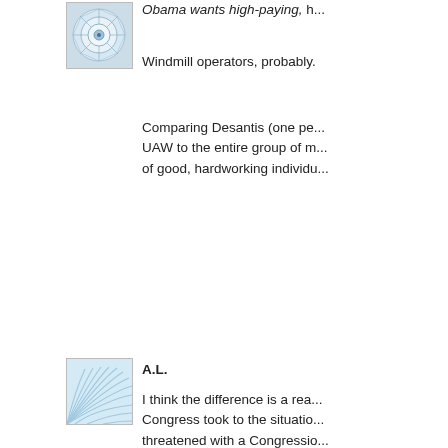[Figure (illustration): Avatar image showing a circular mandala/flower-like pattern in blue/white tones]
Obama wants high-paying, h...
Windmill operators, probably.
Comparing Desantis (one pe... UAW to the entire group of m... of good, hardworking individu...
[Figure (illustration): Avatar image showing radiating curved lines forming a shell/fan pattern in light blue tones]
A.L.
I think the difference is a rea... Congress took to the situatio... threatened with a Congressio... demanded that GM provide th... medical benefits. No state Att... recipients of "excess" compe... benefits would be the patrioti...
Also, and less charitably, I thi... the AIG people than the UAW... the AIG group. It's the sort of... sympathy for a Dallton Trumb... flagged as communists.